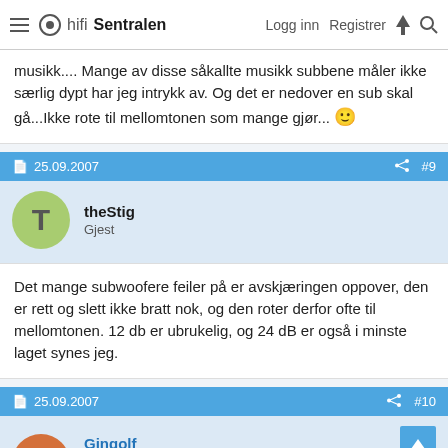hifi Sentralen — Logg inn  Registrer
musikk.... Mange av disse såkallte musikk subbene måler ikke særlig dypt har jeg intrykk av. Og det er nedover en sub skal gå...Ikke rote til mellomtonen som mange gjør... 🙂
25.09.2007  #9
theStig
Gjest
Det mange subwoofere feiler på er avskjæringen oppover, den er rett og slett ikke bratt nok, og den roter derfor ofte til mellomtonen. 12 db er ubrukelig, og 24 dB er også i minste laget synes jeg.
25.09.2007  #10
Gingolf
Hi-Fi interessert
★★★